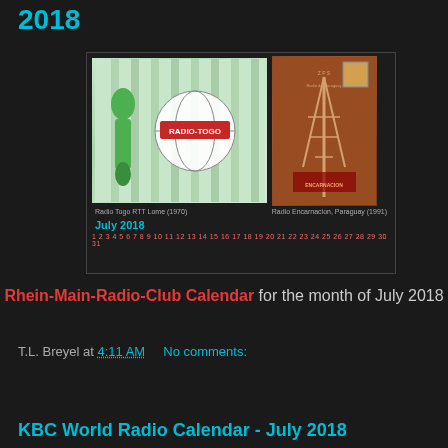2018
[Figure (illustration): Calendar image showing Radio Togo RTT Lome (1970) on left (green illustrated figure and globe with RADIO-TOGO text) and Radio Encarnacion Paraguay (1991) on right (reddish vintage radio tower poster), with July 2018 calendar dates below]
Rhein-Main-Radio-Club Calendar for the month of July 2018
T.L. Breyel at 4:11 AM    No comments:
Share
KBC World Radio Calendar - July 2018